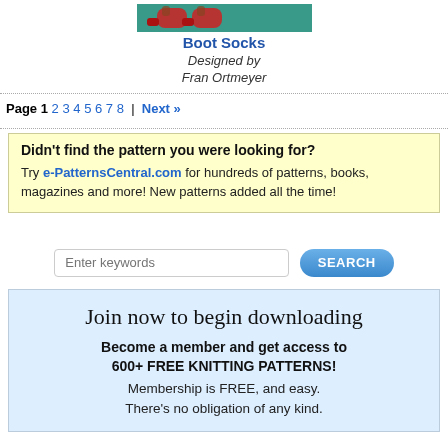[Figure (photo): Photo of red knitted boot socks on teal/green background]
Boot Socks
Designed by
Fran Ortmeyer
Page 1 2 3 4 5 6 7 8 | Next »
Didn't find the pattern you were looking for?
Try e-PatternsCentral.com for hundreds of patterns, books, magazines and more! New patterns added all the time!
[Figure (screenshot): Search bar with 'Enter keywords' placeholder and SEARCH button]
Join now to begin downloading
Become a member and get access to 600+ FREE KNITTING PATTERNS!
Membership is FREE, and easy.
There's no obligation of any kind.